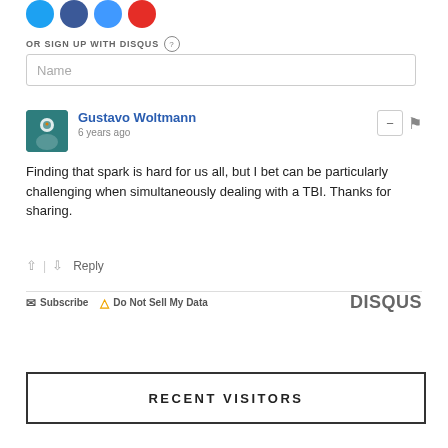[Figure (illustration): Social media icon buttons: Twitter (blue), Facebook (dark blue), another blue icon, YouTube (red)]
OR SIGN UP WITH DISQUS (?)
Name
Gustavo Woltmann
6 years ago
Finding that spark is hard for us all, but I bet can be particularly challenging when simultaneously dealing with a TBI. Thanks for sharing.
↑ | ↓  Reply
Subscribe  Do Not Sell My Data  DISQUS
RECENT VISITORS